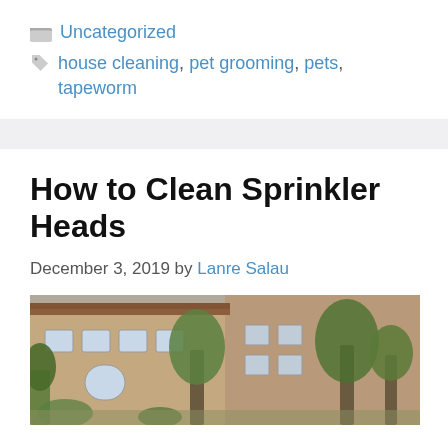Uncategorized
house cleaning, pet grooming, pets, tapeworm
How to Clean Sprinkler Heads
December 3, 2019 by Lanre Salau
[Figure (photo): Exterior photo of a building with trees and shrubs in front]